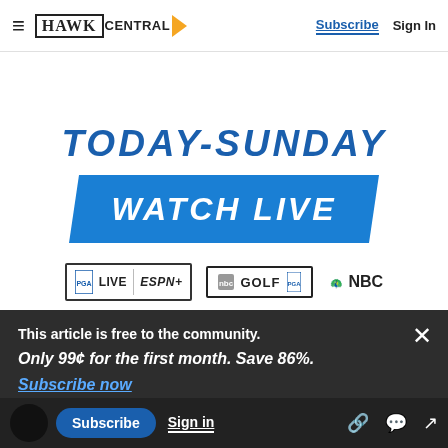HAWK CENTRAL | Subscribe | Sign In
[Figure (infographic): Golf tournament promotion banner: 'TODAY-SUNDAY' in large italic blue text above a blue parallelogram button reading 'WATCH LIVE' in white, with PGA TOUR LIVE | ESPN+, Golf Channel, and NBC logos below.]
When Niemann was hired May 1 to essentially
This article is free to the community.
Only 99¢ for the first month. Save 86%.
Subscribe now
d. Although that remains to be seen, Niemann
Subscribe | Sign in